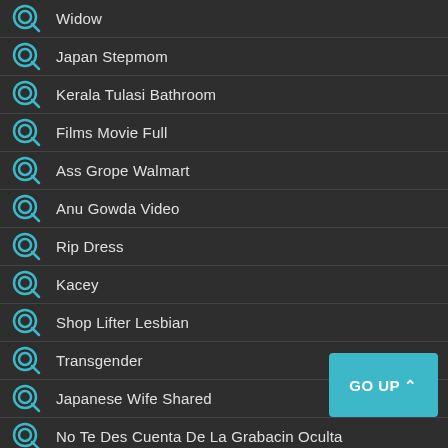Widow
Japan Stepmom
Kerala Tulasi Bathroom
Films Movie Full
Ass Grope Walmart
Anu Gowda Video
Rip Dress
Kacey
Shop Lifter Lesbian
Transgender
Japanese Wife Shared
No Te Des Cuenta De La Grabacin Oculta